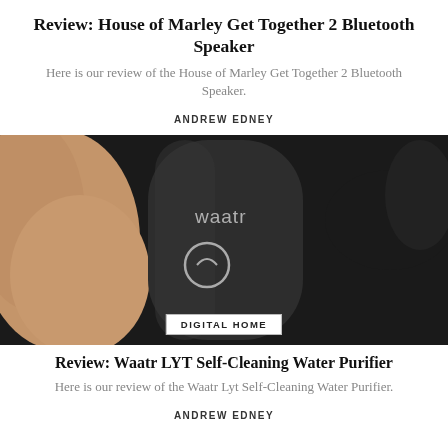Review: House of Marley Get Together 2 Bluetooth Speaker
Here is our review of the House of Marley Get Together 2 Bluetooth Speaker.
ANDREW EDNEY
[Figure (photo): Close-up photo of a hand holding a black cylindrical Waatr branded water purifier device against a dark background.]
DIGITAL HOME
Review: Waatr LYT Self-Cleaning Water Purifier
Here is our review of the Waatr Lyt Self-Cleaning Water Purifier.
ANDREW EDNEY